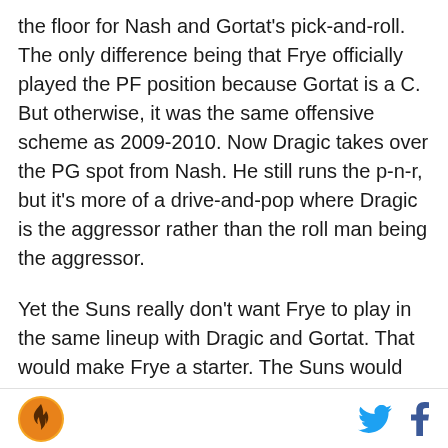the floor for Nash and Gortat's pick-and-roll. The only difference being that Frye officially played the PF position because Gortat is a C. But otherwise, it was the same offensive scheme as 2009-2010. Now Dragic takes over the PG spot from Nash. He still runs the p-n-r, but it's more of a drive-and-pop where Dragic is the aggressor rather than the roll man being the aggressor.
Yet the Suns really don't want Frye to play in the same lineup with Dragic and Gortat. That would make Frye a starter. The Suns would rather play Luis Scola or Markieff Morris or Michael Beasley over Frye. The say that because the Suns FO acquired all three in the past 15 months despite having Frye on the roster, so I'm
SB Nation logo | Twitter icon | Facebook icon